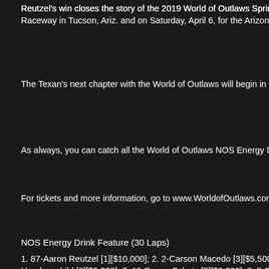Reutzel's win closes the story of the 2019 World of Outlaws Spring Break at Tucson Raceway in Tucson, Ariz. and on Saturday, April 6, for the Arizona Desert...
The Texan's next chapter with the World of Outlaws will begin in May at B...
As always, you can catch all the World of Outlaws NOS Energy Drink Sp...
For tickets and more information, go to www.WorldofOutlaws.com.
NOS Energy Drink Feature (30 Laps)
1. 87-Aaron Reutzel [1][$10,000]; 2. 2-Carson Macedo [3][$5,500]; 3. 24- ... Haudenschild [8][$2,300]; 7. 15-Donny Schatz [5][$2,200]; 8. 5-Shane St... Kemenah [4][$1,500]; 12. 41-David Gravel [11][$1,200]; 13. 83-Daryn Pit... ... [10][$900]; 17. 21-Brian Brown [17][$900]; 18. 71P-P...